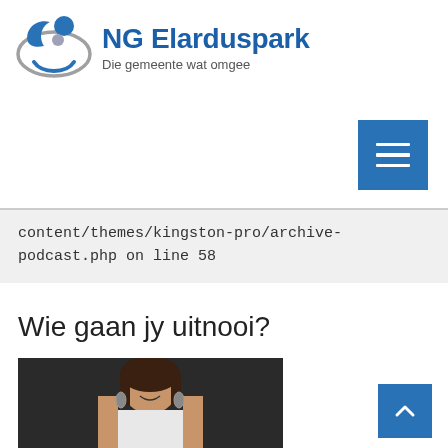[Figure (logo): NG Elarduspark church logo with circular swirl icon in blue and grey, with text 'NG Elarduspark' in bold blue and subtitle 'Die gemeente wat omgee' in grey]
[Figure (screenshot): Blue square hamburger menu button with three white horizontal lines]
content/themes/kingston-pro/archive-podcast.php on line 58
Wie gaan jy uitnooi?
[Figure (photo): Portrait photo of a smiling woman with dark hair, wearing earrings and a white top, on a dark background]
[Figure (screenshot): Blue square back-to-top button with white upward chevron arrow]